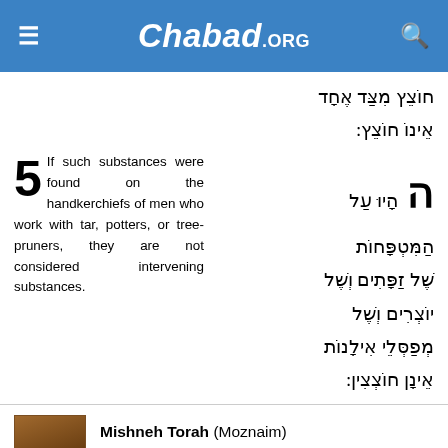Chabad.ORG
חוֹצֵץ מִצַּד אֶחָד אֵינוֹ חוֹצֵץ:
5 If such substances were found on the handkerchiefs of men who work with tar, potters, or tree-pruners, they are not considered intervening substances.
ה הָיוּ עַל הַמִּטְפָּחוֹת שֶׁל זַפָּתִים וְשֶׁל יוֹצְרִים וְשֶׁל מְפַסְּלֵי אִילָנוֹת אֵינָן חוֹצְצִין:
Mishneh Torah (Moznaim)